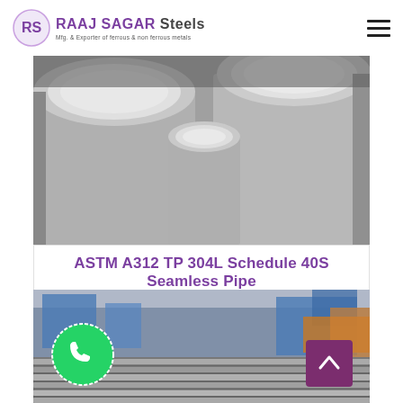[Figure (logo): Raaj Sagar Steels company logo with purple RS emblem and company name, subtitle: Mfg. & Exporter of ferrous & non ferrous metals]
[Figure (photo): Close-up photograph of large-diameter stainless steel seamless pipes (Schedule 40S), showing circular pipe ends in grey/silver color]
ASTM A312 TP 304L Schedule 40S Seamless Pipe
[Figure (photo): Industrial facility photograph showing rows of steel pipes/tubes arranged on a production floor with blue and orange machinery in the background]